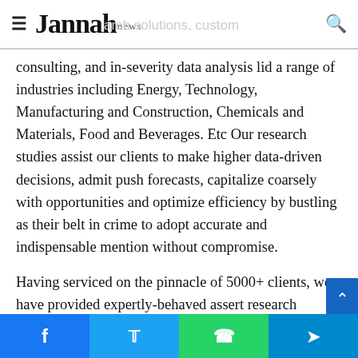Jannah news
consulting, and in-severity data analysis lid a range of industries including Energy, Technology, Manufacturing and Construction, Chemicals and Materials, Food and Beverages. Etc Our research studies assist our clients to make higher data-driven decisions, admit push forecasts, capitalize coarsely with opportunities and optimize efficiency by bustling as their belt in crime to adopt accurate and indispensable mention without compromise.
Having serviced on the pinnacle of 5000+ clients, we have provided expertly-behaved assert research facilities to more than 100 Global Fortune 500 companies such as Amazon, Dell, IBM, Shell, Exxon Mobil, General Electric, Siemens, Microsoft, Sony, and Hitachi.
Facebook | Twitter | WhatsApp | Telegram